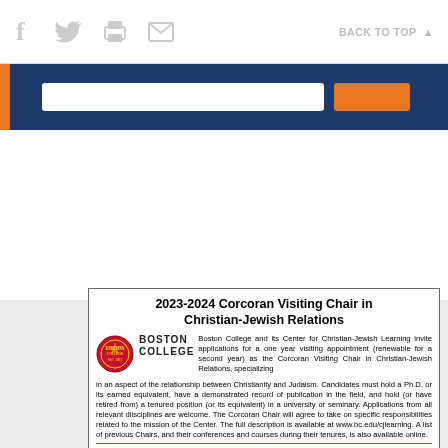f  [twitter]  [print]  [email]   BACK TO TOP ▲
[Figure (screenshot): Dark navy blue banner with white search input field and orange submit button, orange left accent bar]
2023-2024 Corcoran Visiting Chair in Christian-Jewish Relations
Boston College and its Center for Christian-Jewish Learning invite applications for a one year visiting appointment (renewable for a second year) as the Corcoran Visiting Chair in Christian-Jewish Relations, specializing in an aspect of the relationship between Christianity and Judaism. Candidates must hold a Ph.D. or its earned equivalent, have a demonstrated record of publication in the field, and hold (or have retired from) a tenured position (or its equivalent) in a university or seminary. Applications from all relevant diisciplines are welcome. The Corcoran Chair will agree to take on specific responsibilities related to the mission of the Center. The full description is available at www.bc.edu/cjlearning. A list of previous Chairs, and their conferences and courses during their tenures, is also available online.
Electronic submission of the following are requested: letter of application, ...